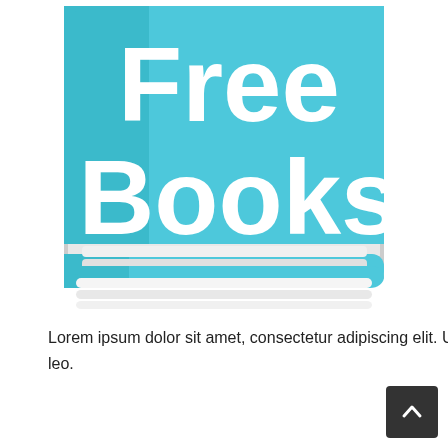[Figure (logo): A stylized icon of a book with a light blue cover and white pages at the bottom. The cover displays the text 'Free Books' in large white letters on a teal/sky-blue rounded-rectangle background.]
Lorem ipsum dolor sit amet, consectetur adipiscing elit. Ut elit tellus, luctus nec ullamcorper mattis, pulvinar dapibus leo.